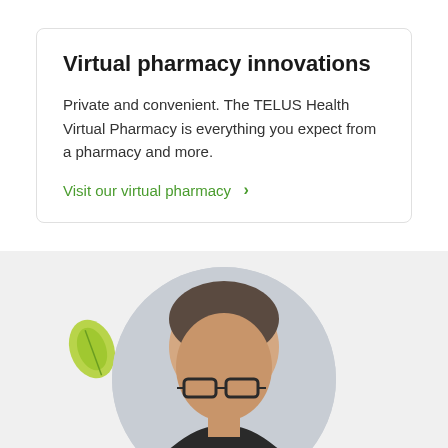Virtual pharmacy innovations
Private and convenient. The TELUS Health Virtual Pharmacy is everything you expect from a pharmacy and more.
Visit our virtual pharmacy >
[Figure (photo): A circular portrait photo of a middle-aged man with glasses and short brown-grey hair, wearing a dark jacket. A green leaf graphic is visible to the left. Background is light grey.]